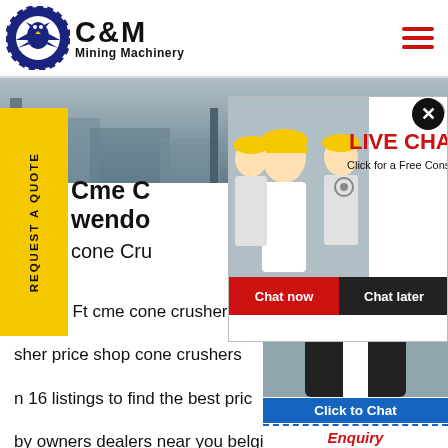[Figure (logo): C&M Mining Machinery logo with eagle in gear circle and company name text]
[Figure (photo): Construction/mining site background hero banner image]
[Figure (infographic): Live Chat popup overlay with workers photo, LIVE CHAT heading, Chat now and Chat later buttons]
[Figure (photo): Customer service representative with headset on right side]
REQUEST A QUOTE
Cme C wendo
cone Cru
chines. Ft cme cone crushers p sher price shop cone crushers n 16 listings to find the best pric by owners dealers near you belgia cone crusher price 19970727 limes in algeria cme cone crusher russia
Click to Chat
Enquiry